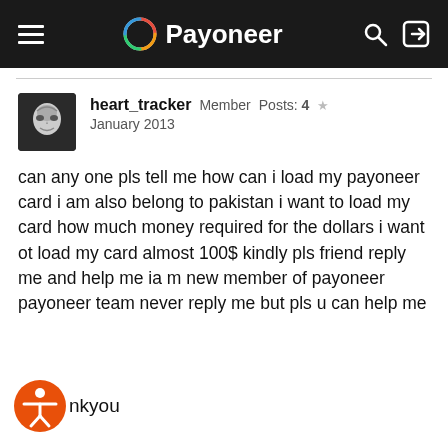Payoneer
heart_tracker  Member  Posts: 4  ★
January 2013
can any one pls tell me how can i load my payoneer card i am also belong to pakistan i want to load my card how much money required for the dollars i want ot load my card almost 100$ kindly pls friend reply me and help me ia m new member of payoneer payoneer team never reply me but pls u can help me
thankyou